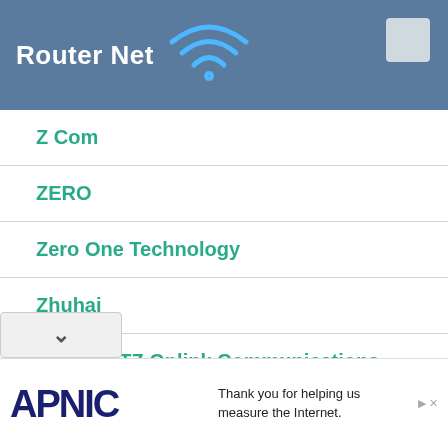Router Net
Z Com
ZERO
Zero One Technology
Zhuhai
Zhuhai FTZ Oplink Communications
Zinwell
ZIO
Zonet
Zoom
[Figure (logo): APNIC logo in dark navy blue large bold text]
Thank you for helping us measure the Internet.